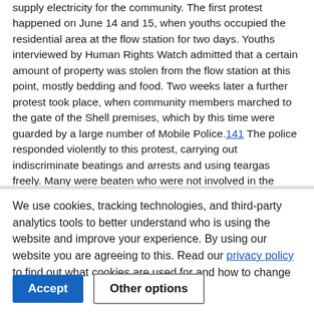supply electricity for the community. The first protest happened on June 14 and 15, when youths occupied the residential area at the flow station for two days. Youths interviewed by Human Rights Watch admitted that a certain amount of property was stolen from the flow station at this point, mostly bedding and food. Two weeks later a further protest took place, when community members marched to the gate of the Shell premises, which by this time were guarded by a large number of Mobile Police.141 The police responded violently to this protest, carrying out indiscriminate beatings and arrests and using teargas freely. Many were beaten who were not involved in the protest but were simply passersby. More than thirty people were arrested, of whom about eight were women, and some were teenagers. They were detained at Owerri for one to three weeks, and charged with sabotage, though the case
We use cookies, tracking technologies, and third-party analytics tools to better understand who is using the website and improve your experience. By using our website you are agreeing to this. Read our privacy policy to find out what cookies are used for and how to change your settings.